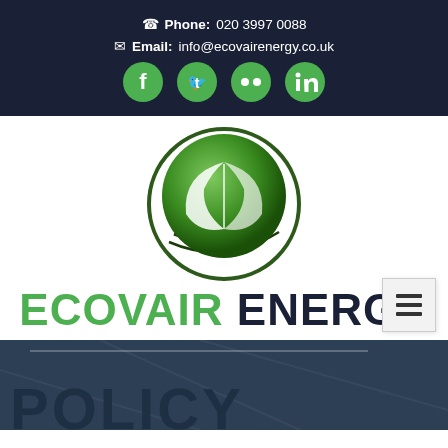📞 Phone: 020 3997 0088
✉ Email: info@ecovairenergy.co.uk
[Figure (logo): Four green circular social media icons: Facebook, Twitter, Flickr, LinkedIn]
[Figure (logo): Ecovair Energy circular green leaf logo]
ECOVAIR ENERGY
[Figure (other): Hamburger menu button (three horizontal lines)]
POLICY